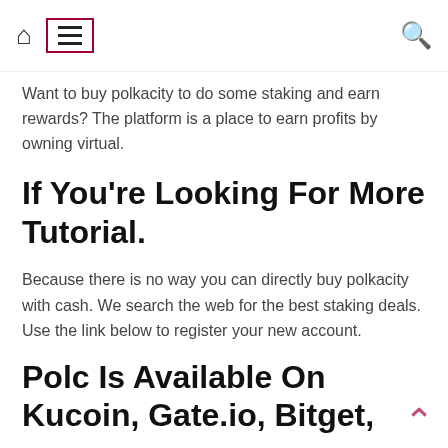Home | Menu | Search
Want to buy polkacity to do some staking and earn rewards? The platform is a place to earn profits by owning virtual.
If You're Looking For More Tutorial.
Because there is no way you can directly buy polkacity with cash. We search the web for the best staking deals. Use the link below to register your new account.
Polc Is Available On Kucoin, Gate.io, Bitget,